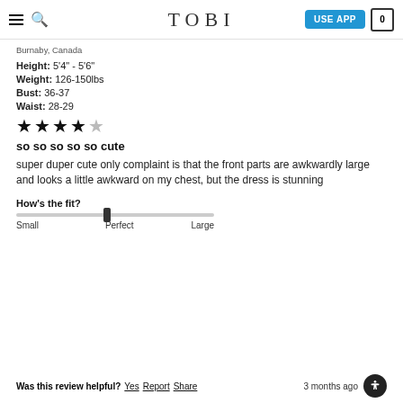TOBI
Burnaby, Canada
Height: 5'4" - 5'6"
Weight: 126-150lbs
Bust: 36-37
Waist: 28-29
[Figure (other): 4 out of 5 stars rating]
so so so so so cute
super duper cute only complaint is that the front parts are awkwardly large and looks a little awkward on my chest, but the dress is stunning
How's the fit?
[Figure (other): Fit slider showing position between Small and Large, marker near Perfect]
Was this review helpful? Yes Report Share   3 months ago